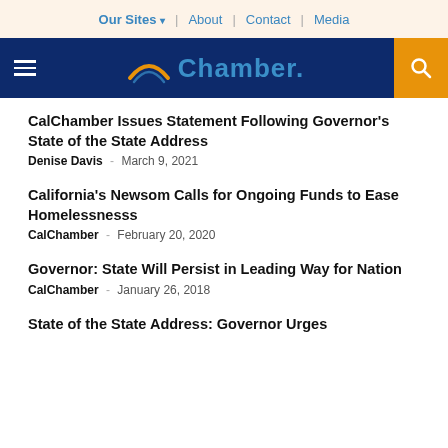Our Sites ▾  |  About  |  Contact  |  Media
[Figure (logo): CalChamber logo with swoosh and 'Chamber.' text on dark blue navigation bar with hamburger menu and search icon]
CalChamber Issues Statement Following Governor's State of the State Address
Denise Davis  -  March 9, 2021
California's Newsom Calls for Ongoing Funds to Ease Homelessnesss
CalChamber  -  February 20, 2020
Governor: State Will Persist in Leading Way for Nation
CalChamber  -  January 26, 2018
State of the State Address: Governor Urges